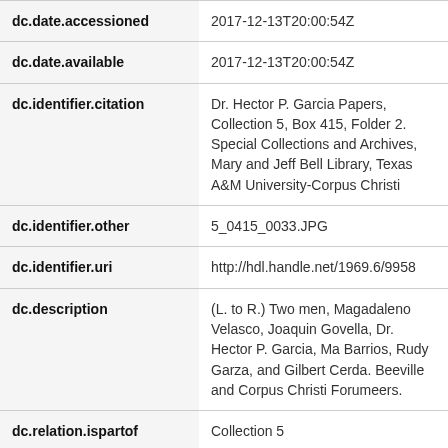| Field | Value |
| --- | --- |
| dc.date.accessioned | 2017-12-13T20:00:54Z |
| dc.date.available | 2017-12-13T20:00:54Z |
| dc.identifier.citation | Dr. Hector P. Garcia Papers, Collection 5, Box 415, Folder 2. Special Collections and Archives, Mary and Jeff Bell Library, Texas A&M University-Corpus Christi |
| dc.identifier.other | 5_0415_0033.JPG |
| dc.identifier.uri | http://hdl.handle.net/1969.6/9958 |
| dc.description | (L. to R.) Two men, Magadaleno Velasco, Joaquin Govella, Dr. Hector P. Garcia, Ma Barrios, Rudy Garza, and Gilbert Cerda. Beeville and Corpus Christi Forumeers. |
| dc.relation.ispartof | Collection 5 |
| dc.relation.ispartof | Box 415 |
| dc.relation.ispartof | Folder 2 |